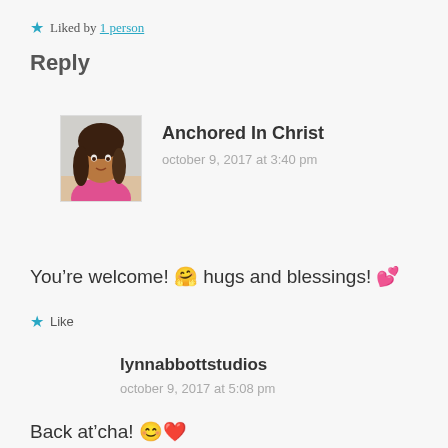★ Liked by 1 person
Reply
[Figure (photo): Profile photo of a woman with straight hair wearing a pink top]
Anchored In Christ
october 9, 2017 at 3:40 pm
You're welcome! 🤗 hugs and blessings! 💕
★ Like
lynnabbottstudios
october 9, 2017 at 5:08 pm
Back at'cha! 😊❤️